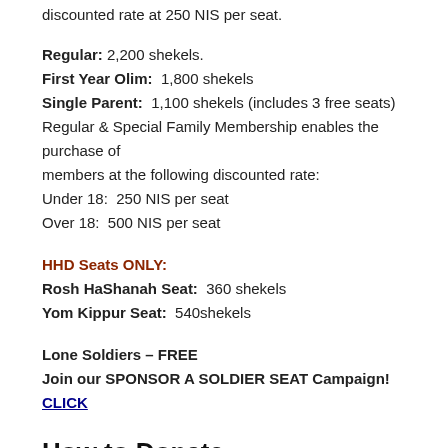discounted rate at 250 NIS per seat.
Regular: 2,200 shekels.
First Year Olim: 1,800 shekels
Single Parent: 1,100 shekels (includes 3 free seats)
Regular & Special Family Membership enables the purchase of members at the following discounted rate:
Under 18: 250 NIS per seat
Over 18: 500 NIS per seat
HHD Seats ONLY:
Rosh HaShanah Seat: 360 shekels
Yom Kippur Seat: 540shekels
Lone Soldiers – FREE
Join our SPONSOR A SOLDIER SEAT Campaign! CLICK
How to Donate: